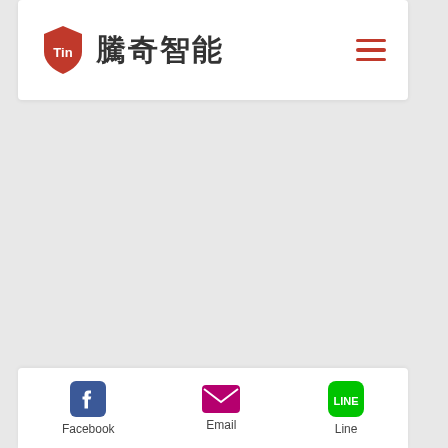騰奇智能 (Tin logo)
[Figure (logo): Tin brand logo with red shield icon and Chinese text 騰奇智能]
Facebook  Email  Line